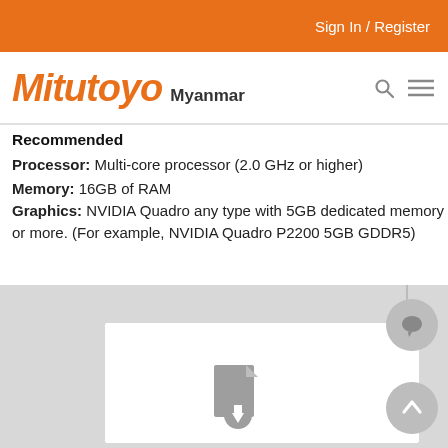Sign In / Register
[Figure (logo): Mitutoyo Myanmar logo with orange italic text and search/menu icons]
Recommended
Processor: Multi-core processor (2.0 GHz or higher)
Memory: 16GB of RAM
Graphics: NVIDIA Quadro any type with 5GB dedicated memory or more. (For example, NVIDIA Quadro P2200 5GB GDDR5)
[Figure (screenshot): Bottom section showing a light gray area with a white card, document download icon, chat bubble circle, and up-arrow circle]